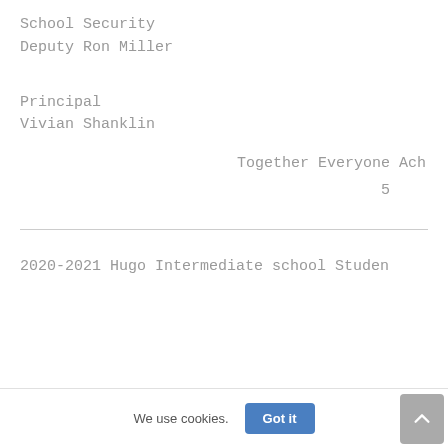School Security
Deputy Ron Miller
Principal
Vivian Shanklin
Together Everyone Ach
5
2020-2021 Hugo Intermediate school Studen
We use cookies.
Got it